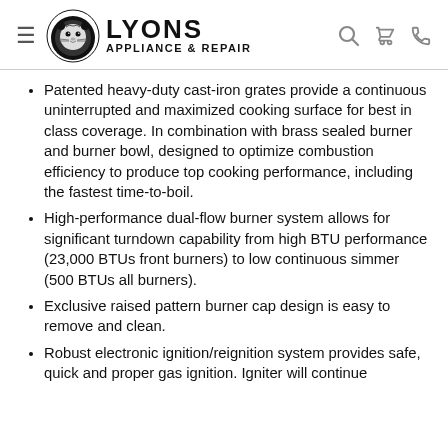LYONS APPLIANCE & REPAIR
Patented heavy-duty cast-iron grates provide a continuous uninterrupted and maximized cooking surface for best in class coverage. In combination with brass sealed burner and burner bowl, designed to optimize combustion efficiency to produce top cooking performance, including the fastest time-to-boil.
High-performance dual-flow burner system allows for significant turndown capability from high BTU performance (23,000 BTUs front burners) to low continuous simmer (500 BTUs all burners).
Exclusive raised pattern burner cap design is easy to remove and clean.
Robust electronic ignition/reignition system provides safe, quick and proper gas ignition. Igniter will continue